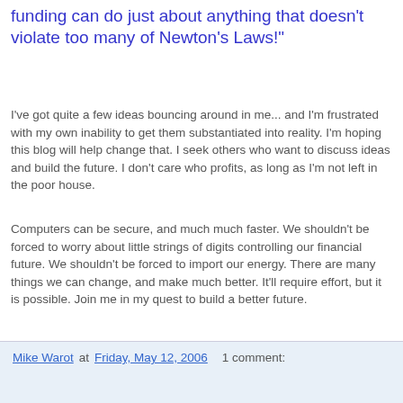funding can do just about anything that doesn't violate too many of Newton's Laws!"
I've got quite a few ideas bouncing around in me... and I'm frustrated with my own inability to get them substantiated into reality. I'm hoping this blog will help change that. I seek others who want to discuss ideas and build the future. I don't care who profits, as long as I'm not left in the poor house.
Computers can be secure, and much much faster. We shouldn't be forced to worry about little strings of digits controlling our financial future. We shouldn't be forced to import our energy. There are many things we can change, and make much better. It'll require effort, but it is possible. Join me in my quest to build a better future.
--Mike--
Mike Warot at Friday, May 12, 2006  1 comment: